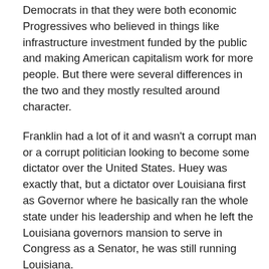Democrats in that they were both economic Progressives who believed in things like infrastructure investment funded by the public and making American capitalism work for more people. But there were several differences in the two and they mostly resulted around character.
Franklin had a lot of it and wasn't a corrupt man or a corrupt politician looking to become some dictator over the United States. Huey was exactly that, but a dictator over Louisiana first as Governor where he basically ran the whole state under his leadership and when he left the Louisiana governors mansion to serve in Congress as a Senator, he was still running Louisiana.
But now Huey Long as a U.S. Senator had more national power and since these two men were similar ideologically at least on economic-policy, President Roosevelt saw Senator Long as a political threat who he was going to